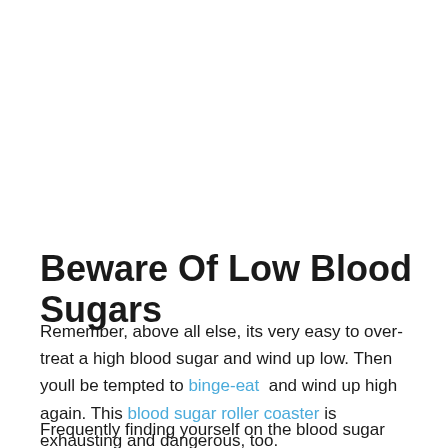Beware Of Low Blood Sugars
Remember, above all else, its very easy to over-treat a high blood sugar and wind up low. Then youll be tempted to binge-eat and wind up high again. This blood sugar roller coaster is exhausting and dangerous, too.
Frequently finding yourself on the blood sugar roller coaster